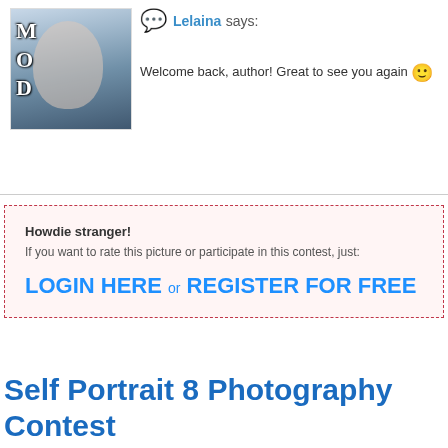[Figure (photo): Avatar image of a young woman with long hair, overlay text showing M, O, D on the left side in stylized letters]
Lelaina says:
Welcome back, author! Great to see you again 🙂
Howdie stranger!
If you want to rate this picture or participate in this contest, just:
LOGIN HERE or REGISTER FOR FREE
Self Portrait 8 Photography Contest